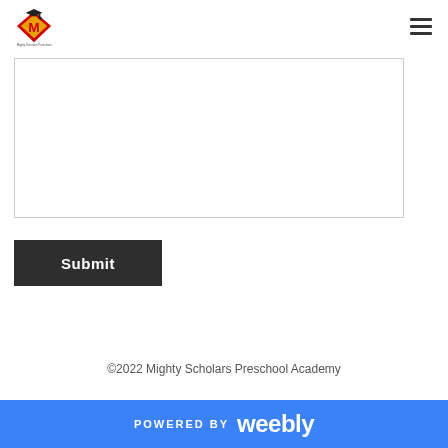Mighty Scholars Preschool Academy logo and navigation
[Figure (other): Large empty text area / input box with light gray border]
Submit
©2022 Mighty Scholars Preschool Academy
POWERED BY weebly